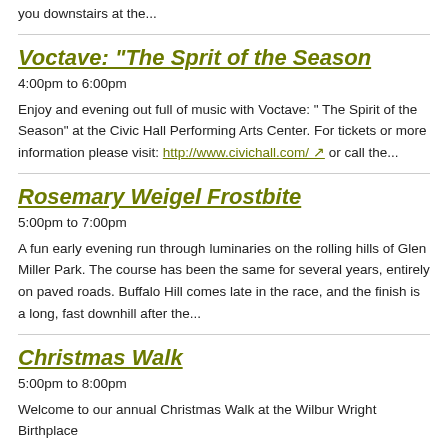you downstairs at the...
Voctave: "The Sprit of the Season
4:00pm to 6:00pm
Enjoy and evening out full of music with Voctave: " The Spirit of the Season" at the Civic Hall Performing Arts Center. For tickets or more information please visit: http://www.civichall.com/ or call the...
Rosemary Weigel Frostbite
5:00pm to 7:00pm
A fun early evening run through luminaries on the rolling hills of Glen Miller Park. The course has been the same for several years, entirely on paved roads. Buffalo Hill comes late in the race, and the finish is a long, fast downhill after the...
Christmas Walk
5:00pm to 8:00pm
Welcome to our annual Christmas Walk at the Wilbur Wright Birthplace